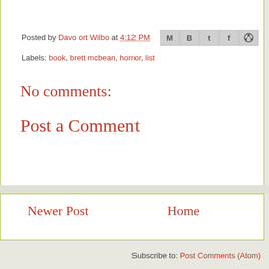Posted by Davo ort Wilbo at 4:12 PM
Labels: book, brett mcbean, horror, list
No comments:
Post a Comment
Newer Post
Home
Subscribe to: Post Comments (Atom)